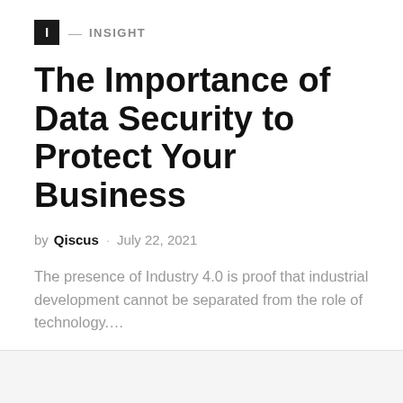I — INSIGHT
The Importance of Data Security to Protect Your Business
by Qiscus · July 22, 2021
The presence of Industry 4.0 is proof that industrial development cannot be separated from the role of technology.…
READ MORE